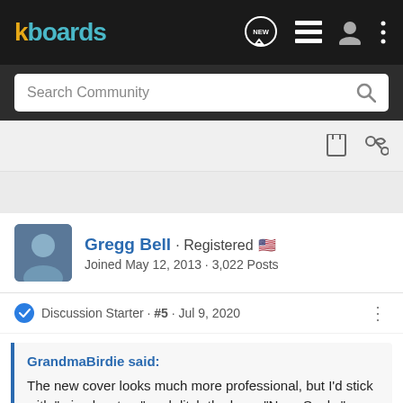[Figure (screenshot): kboards forum website navigation bar with logo, new messages icon, list icon, user icon, and more options icon on dark background]
Search Community
Gregg Bell · Registered 🇺🇸
Joined May 12, 2013 · 3,022 Posts
Discussion Starter · #5 · Jul 9, 2020
GrandmaBirdie said:
The new cover looks much more professional, but I'd stick with "misadventure" and ditch the large "Navy Seals."

Without "misadventure," readers might expect a high-paced drama without humor.